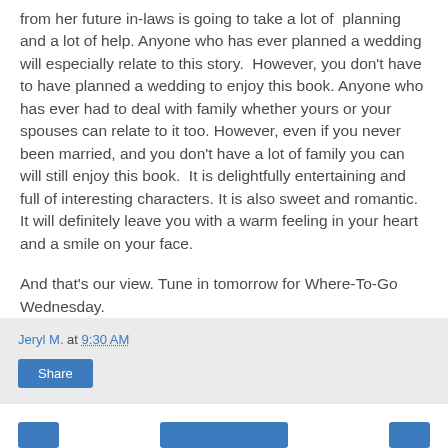from her future in-laws is going to take a lot of planning and a lot of help. Anyone who has ever planned a wedding will especially relate to this story.  However, you don't have to have planned a wedding to enjoy this book. Anyone who has ever had to deal with family whether yours or your spouses can relate to it too. However, even if you never been married, and you don't have a lot of family you can will still enjoy this book.  It is delightfully entertaining and full of interesting characters. It is also sweet and romantic. It will definitely leave you with a warm feeling in your heart and a smile on your face.
And that's our view. Tune in tomorrow for Where-To-Go Wednesday.
Jeryl M. at 9:30 AM
Share